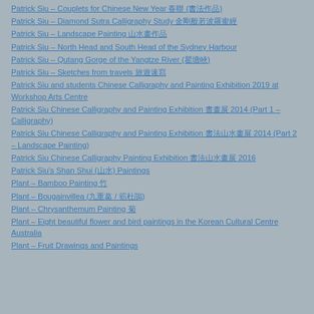Patrick Siu – Couplets for Chinese New Year 春聯 (書法作品)
Patrick Siu – Diamond Sutra Calligraphy Study 金剛般若波羅蜜經
Patrick Siu – Landscape Painting 山水畫作品
Patrick Siu – North Head and South Head of the Sydney Harbour
Patrick Siu – Qutang Gorge of the Yangtze River (瞿塘峽)
Patrick Siu – Sketches from travels 旅遊速寫
Patrick Siu and students Chinese Calligraphy and Painting Exhibition 2019 at Workshop Arts Centre
Patrick Siu Chinese Calligraphy and Painting Exhibition 書畫展 2014 (Part 1 – Calligraphy)
Patrick Siu Chinese Calligraphy and Painting Exhibition 書法山水畫展 2014 (Part 2 – Landscape Painting)
Patrick Siu Chinese Calligraphy Painting Exhibition 書法山水畫展 2016
Patrick Siu's Shan Shui (山水) Paintings
Plant – Bamboo Painting 竹
Plant – Bougainvillea (九重葛 / 簕杜鵑)
Plant – Chrysanthemum Painting 菊
Plant – Eight beautiful flower and bird paintings in the Korean Cultural Centre Australia
Plant – Fruit Drawings and Paintings